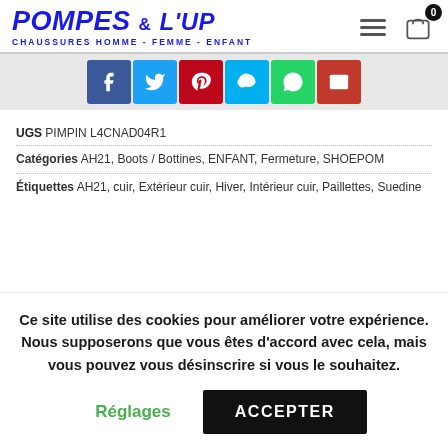[Figure (logo): Pompes & l'Up logo with tagline CHAUSSURES HOMME - FEMME - ENFANT]
[Figure (infographic): Social sharing buttons: Facebook, Twitter, Pinterest, Skype, WhatsApp, Email]
UGS PIMPIN L4CNAD04R1
Catégories AH21, Boots / Bottines, ENFANT, Fermeture, SHOEPOM
Étiquettes AH21, cuir, Extérieur cuir, Hiver, Intérieur cuir, Paillettes, Suedine
Ce site utilise des cookies pour améliorer votre expérience. Nous supposerons que vous êtes d'accord avec cela, mais vous pouvez vous désinscrire si vous le souhaitez.
Réglages
ACCEPTER